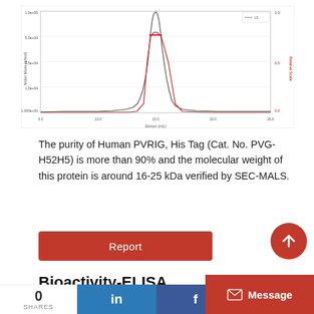[Figure (continuous-plot): SEC-MALS chromatogram showing a sharp peak (blue line, Molar Mass) and a smaller red plateau region near the peak apex. X-axis: Elution (mL) from ~5 to 25 mL. Y-axis left: Molar Mass (g/mol) ranging ~1,000,000 down. Y-axis right: Relative Scale 0 to 1.]
The purity of Human PVRIG, His Tag (Cat. No. PVG-H52H5) is more than 90% and the molecular weight of this protein is around 16-25 kDa verified by SEC-MALS.
Bioactivity-ELISA
Human PVRIG, His Tag ELISA